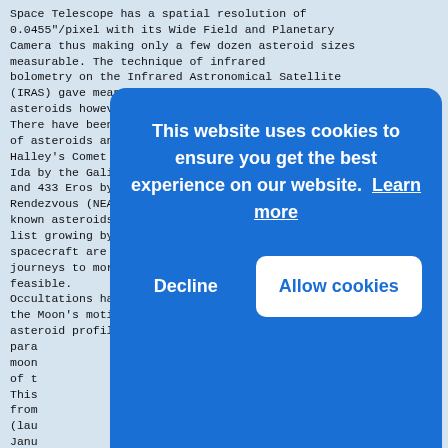Space Telescope has a spatial resolution of 0.0455"/pixel with its Wide Field and Planetary Camera thus making only a few dozen asteroid sizes measurable. The technique of infrared bolometry on the Infrared Astronomical Satellite (IRAS) gave mean diameters of hundreds of asteroids however the errors exceeded 10% or more. There have been several close encounters of asteroids and comets by spacecraft, namely Halley's Comet by Giotto, 951 Gaspra and 243 Ida by the Galileo spacecraft in route to Jupiter, and 433 Eros by the Near Earth Asteroid Rendezvous (NEAR) mission. With more than 300,000 known asteroids and comets (and the list growing by several thousand each month), spacecraft are far too expensive to make journeys to more than just a few of these objects feasible. Occultations have more applications than determining the Moon's motion, lunar limb profiles, asteroid profiles, astrometric and galactic para[llaxes,] moon[...] of t[...] This [...] from [...] (lau[...] Janu[...] occu[...] to t[...] Befo[...] of short disappearances occurred. Almost immediately these disappearances were determined to
[Figure (screenshot): Cookie consent overlay popup with blue background. Text reads: 'This website uses cookies to ensure you get the best experience on our website. Learn more'. Two buttons: 'Decline' (white text) and 'Allow cookies' (white button with blue text).]